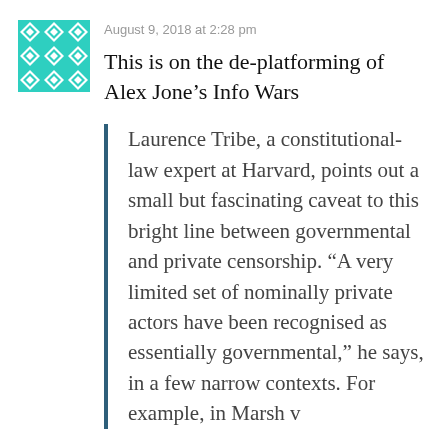August 9, 2018 at 2:28 pm
This is on the de-platforming of Alex Jone’s Info Wars
Laurence Tribe, a constitutional-law expert at Harvard, points out a small but fascinating caveat to this bright line between governmental and private censorship. “A very limited set of nominally private actors have been recognised as essentially governmental,” he says, in a few narrow contexts. For example, in Marsh v